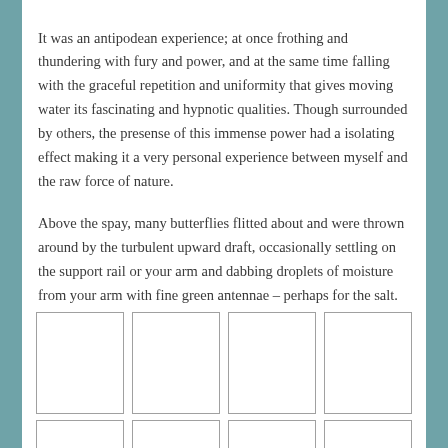It was an antipodean experience; at once frothing and thundering with fury and power, and at the same time falling with the graceful repetition and uniformity that gives moving water its fascinating and hypnotic qualities. Though surrounded by others, the presense of this immense power had a isolating effect making it a very personal experience between myself and the raw force of nature.
Above the spay, many butterflies flitted about and were thrown around by the turbulent upward draft, occasionally settling on the support rail or your arm and dabbing droplets of moisture from your arm with fine green antennae – perhaps for the salt.
[Figure (photo): Grid of image placeholder boxes arranged in two rows of four boxes each, partially visible at the bottom of the page.]